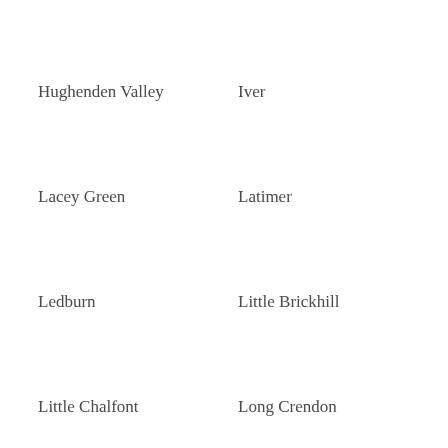Hughenden Valley
Iver
Lacey Green
Latimer
Ledburn
Little Brickhill
Little Chalfont
Long Crendon